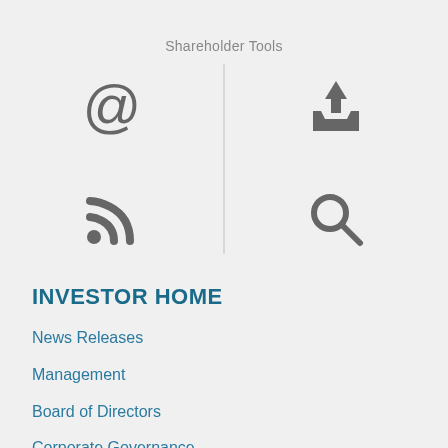Shareholder Tools
[Figure (infographic): Four icons arranged in a 2x2 grid split by a vertical divider line: @ symbol (email), RSS feed symbol, download-to-inbox symbol, and magnifying glass (search) symbol]
INVESTOR HOME
News Releases
Management
Board of Directors
Corporate Governance
Financial Information